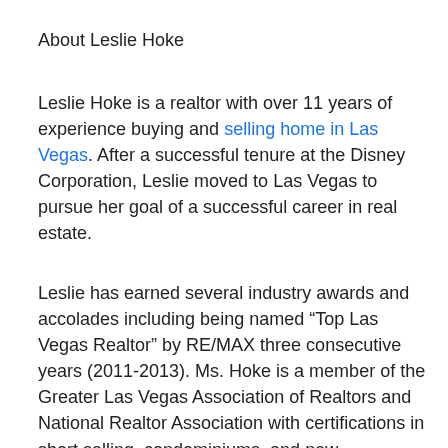About Leslie Hoke
Leslie Hoke is a realtor with over 11 years of experience buying and selling home in Las Vegas. After a successful tenure at the Disney Corporation, Leslie moved to Las Vegas to pursue her goal of a successful career in real estate.
Leslie has earned several industry awards and accolades including being named “Top Las Vegas Realtor” by RE/MAX three consecutive years (2011-2013). Ms. Hoke is a member of the Greater Las Vegas Association of Realtors and National Realtor Association with certifications in short selling, condominiums, and new construction. She is known for her excellent customer communication, savvy